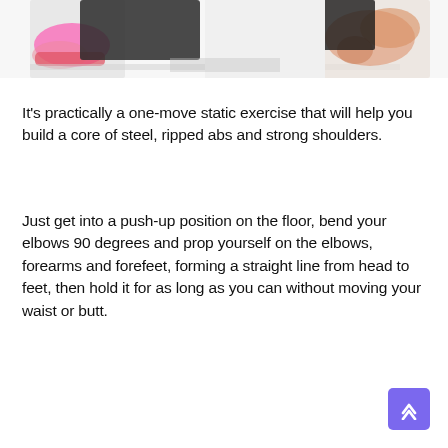[Figure (photo): Partial photo strip at top showing a person in a plank/push-up position on the floor, with athletic shoes visible on the left and a bent arm on the right against a white background.]
It's practically a one-move static exercise that will help you build a core of steel, ripped abs and strong shoulders.
Just get into a push-up position on the floor, bend your elbows 90 degrees and prop yourself on the elbows, forearms and forefeet, forming a straight line from head to feet, then hold it for as long as you can without moving your waist or butt.